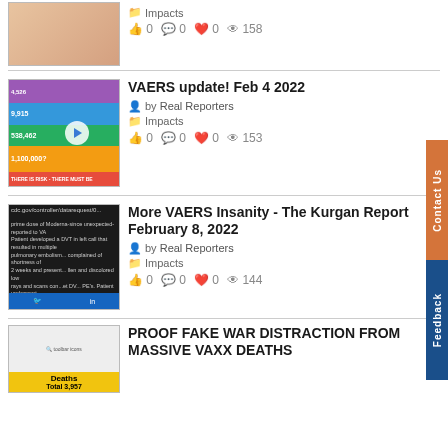[Figure (photo): Partial thumbnail image of a person, cropped at top]
Impacts
0  0  0  158
[Figure (infographic): VAERS statistics infographic with triangle/pyramid showing numbers: 4,526 / 9,915 / 538,462 / 1,100,000? with text 'THERE IS RISK - THERE MUST BE']
VAERS update! Feb 4 2022
by Real Reporters
Impacts
0  0  0  153
[Figure (screenshot): Screenshot of cdc.gov page with VAERS report data text, with Twitter and LinkedIn icons at bottom]
More VAERS Insanity - The Kurgan Report February 8, 2022
by Real Reporters
Impacts
0  0  0  144
[Figure (photo): Thumbnail with yellow background showing 'Deaths Total 3,957']
PROOF FAKE WAR DISTRACTION FROM MASSIVE VAXX DEATHS